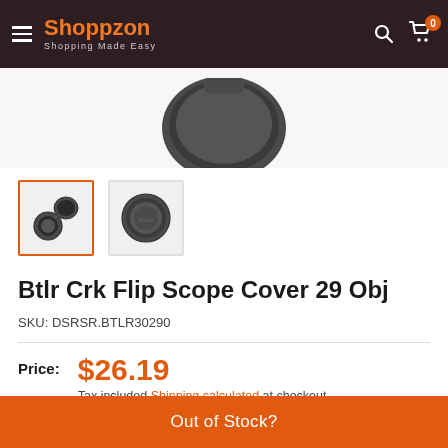Shoppzon — Shopping Made Easy
[Figure (photo): Partial view of a flip scope cover product from above, dark grey color on light background]
[Figure (photo): Two thumbnail images of a Butler Creek flip scope cover: one showing the cover open with a ring/base, another showing the closed cap from the front (circular dark grey)]
Btlr Crk Flip Scope Cover 29 Obj
SKU: DSRSR.BTLR30290
Price: $26.19
Tax included Shipping calculated at checkout
Out of Stock?